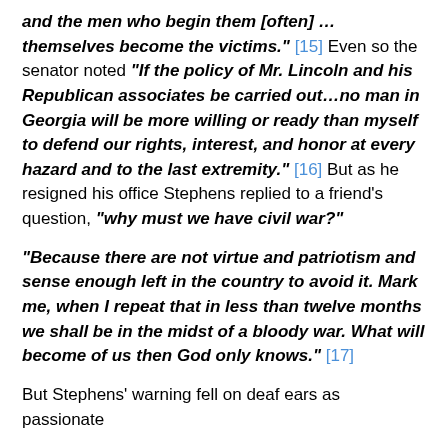and the men who begin them [often] …themselves become the victims." [15] Even so the senator noted "If the policy of Mr. Lincoln and his Republican associates be carried out…no man in Georgia will be more willing or ready than myself to defend our rights, interest, and honor at every hazard and to the last extremity." [16] But as he resigned his office Stephens replied to a friend's question, "why must we have civil war?"
"Because there are not virtue and patriotism and sense enough left in the country to avoid it. Mark me, when I repeat that in less than twelve months we shall be in the midst of a bloody war. What will become of us then God only knows." [17]
But Stephens' warning fell on deaf ears as passionate